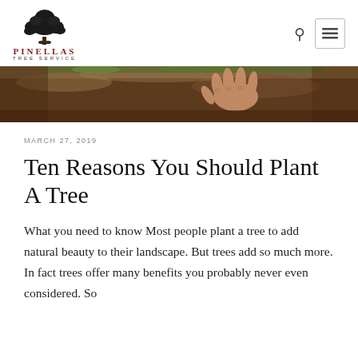[Figure (logo): Pinellas Tree Service logo with tree illustration and text]
[Figure (photo): Photo of a hand touching soil/earth, bottom portion visible as a banner image]
MARCH 27, 2019
Ten Reasons You Should Plant A Tree
What you need to know Most people plant a tree to add natural beauty to their landscape. But trees add so much more. In fact trees offer many benefits you probably never even considered. So